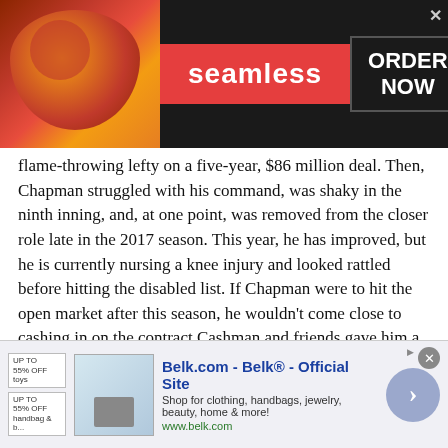[Figure (other): Seamless food delivery advertisement banner with pizza image, red Seamless logo, and ORDER NOW button on dark background]
flame-throwing lefty on a five-year, $86 million deal. Then, Chapman struggled with his command, was shaky in the ninth inning, and, at one point, was removed from the closer role late in the 2017 season. This year, he has improved, but he is currently nursing a knee injury and looked rattled before hitting the disabled list. If Chapman were to hit the open market after this season, he wouldn't come close to cashing in on the contract Cashman and friends gave him a year and a half ago. Acquiring Gleyber Torres was phenomenal on Cashman's end, but breaking the bank to bring back Chapman was a mistake.
Possessing a Never-Ending Commitment to Greg Bird
You always want to trust your youth, but Cashman and the
[Figure (other): Belk.com advertisement banner showing Belk Official Site with clothing and accessories, with a purple arrow button]